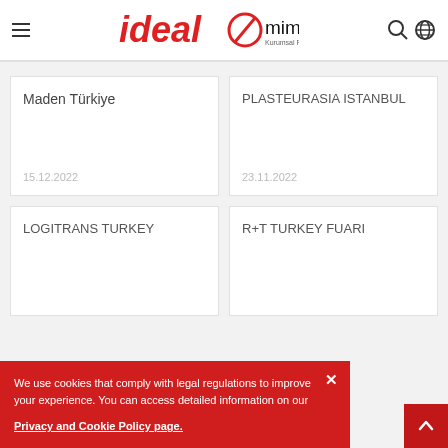ideal mimarlik - Kurumsal Fuar Stand Hizmetleri
Maden Türkiye
15.12.2022
PLASTEURASIA ISTANBUL
23.11.2022
LOGITRANS TURKEY
R+T TURKEY FUARI
We use cookies that comply with legal regulations to improve your experience. You can access detailed information on our Privacy and Cookie Policy page.